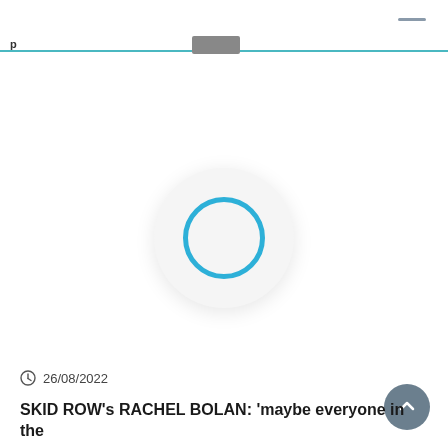—
[Figure (screenshot): A loading spinner: a circular ring in blue inside a white circular card with shadow, centered on the page, indicating a page or media element is loading.]
26/08/2022
SKID ROW's RACHEL BOLAN: 'maybe everyone in the